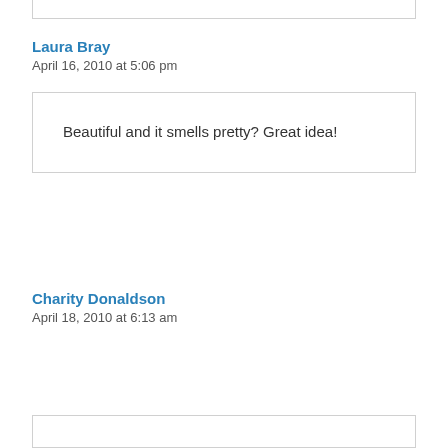Laura Bray
April 16, 2010 at 5:06 pm
Beautiful and it smells pretty? Great idea!
Charity Donaldson
April 18, 2010 at 6:13 am